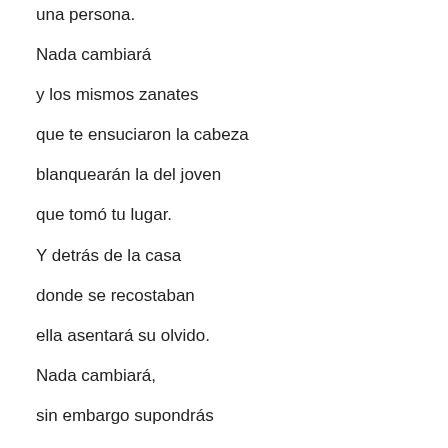una persona.
Nada cambiará
y los mismos zanates
que te ensuciaron la cabeza
blanquearán la del joven
que tomó tu lugar.
Y detrás de la casa
donde se recostaban
ella asentará su olvido.
Nada cambiará,
sin embargo supondrás